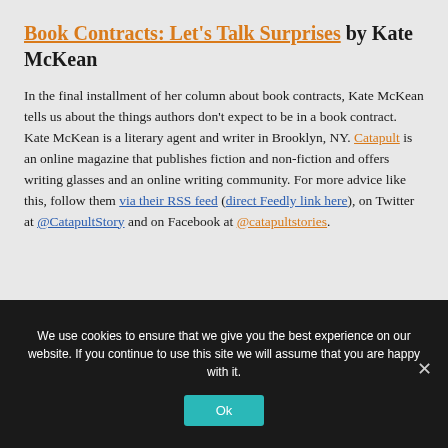Book Contracts: Let's Talk Surprises by Kate McKean
In the final installment of her column about book contracts, Kate McKean tells us about the things authors don't expect to be in a book contract. Kate McKean is a literary agent and writer in Brooklyn, NY. Catapult is an online magazine that publishes fiction and non-fiction and offers writing glasses and an online writing community. For more advice like this, follow them via their RSS feed (direct Feedly link here), on Twitter at @CatapultStory and on Facebook at @catapultstories.
We use cookies to ensure that we give you the best experience on our website. If you continue to use this site we will assume that you are happy with it.